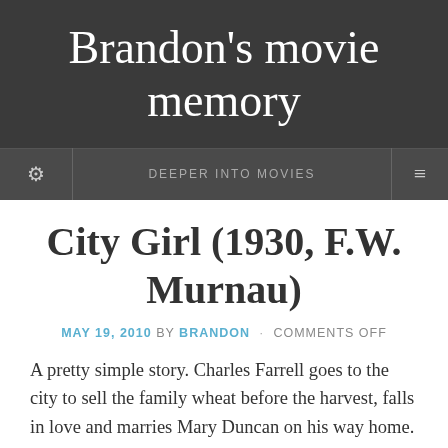Brandon's movie memory
DEEPER INTO MOVIES
City Girl (1930, F.W. Murnau)
MAY 19, 2010 BY BRANDON · COMMENTS OFF
A pretty simple story. Charles Farrell goes to the city to sell the family wheat before the harvest, falls in love and marries Mary Duncan on his way home. Father on the farm is pissed about the low wheat price his son got, and is a huge grouch about Chuck's lowly waitress...